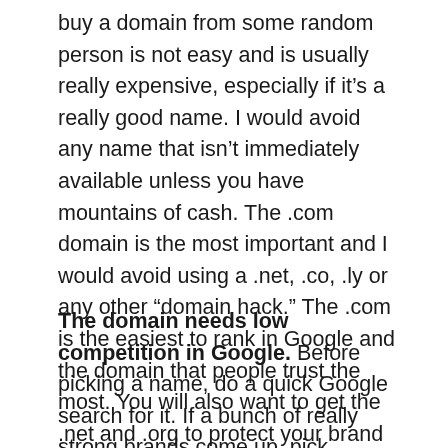buy a domain from some random person is not easy and is usually really expensive, especially if it's a really good name. I would avoid any name that isn't immediately available unless you have mountains of cash. The .com domain is the most important and I would avoid using a .net, .co, .ly or any other “domain hack.” The .com is the easiest to rank in Google and the domain that people trust the most. You will also want to get the .net and .org to protect your brand name.
The domain needs low competition in Google. Before picking a name, do a quick Google search for it. If a bunch of really strong brands come up, pick something else. The easiest way to